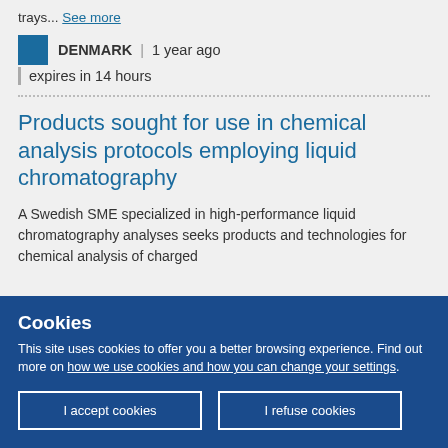trays... See more
DENMARK | 1 year ago | expires in 14 hours
Products sought for use in chemical analysis protocols employing liquid chromatography
A Swedish SME specialized in high-performance liquid chromatography analyses seeks products and technologies for chemical analysis of charged
Cookies
This site uses cookies to offer you a better browsing experience. Find out more on how we use cookies and how you can change your settings.
I accept cookies
I refuse cookies